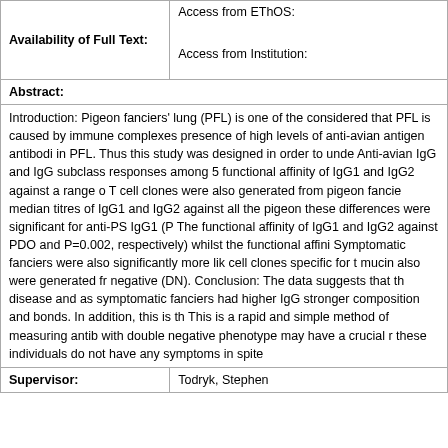| Availability of Full Text: | Access from EThOS:
Access from Institution: |
| --- | --- |
Abstract:
Introduction: Pigeon fanciers' lung (PFL) is one of the considered that PFL is caused by immune complexes presence of high levels of anti-avian antigen antibodi in PFL. Thus this study was designed in order to unde Anti-avian IgG and IgG subclass responses among 5 functional affinity of IgG1 and IgG2 against a range o T cell clones were also generated from pigeon fancie median titres of IgG1 and IgG2 against all the pigeon these differences were significant for anti-PS IgG1 (P The functional affinity of IgG1 and IgG2 against PDO and P=0.002, respectively) whilst the functional affini Symptomatic fanciers were also significantly more lik cell clones specific for t mucin also were generated fr negative (DN). Conclusion: The data suggests that th disease and as symptomatic fanciers had higher IgG stronger composition and bonds. In addition, this is th This is a rapid and simple method of measuring antib with double negative phenotype may have a crucial r these individuals do not have any symptoms in spite
| Supervisor: | Todryk, Stephen |
| --- | --- |